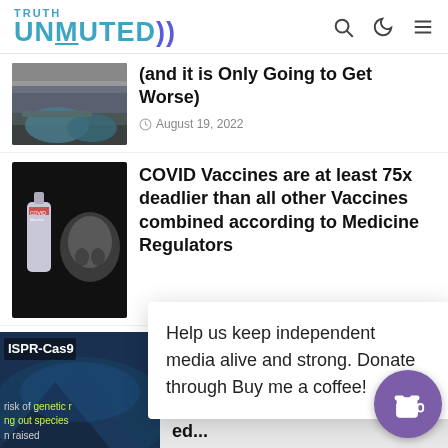TRUTH UNMUTED
[Figure (photo): Tent encampment under overpass]
(and it is Only Going to Get Worse)
August 19, 2022
[Figure (photo): COVID vaccine vial next to skull]
COVID Vaccines are at least 75x deadlier than all other Vaccines combined according to Medicine Regulators
Help us keep independent media alive and strong. Donate through Buy me a coffee!
[Figure (photo): ISPR-Cas9 genetic editing illustration]
risk of genetic [modification] ng out species n raised
The Be So th ed...